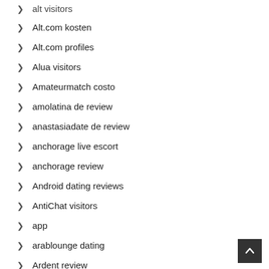alt visitors
Alt.com kosten
Alt.com profiles
Alua visitors
Amateurmatch costo
amolatina de review
anastasiadate de review
anchorage live escort
anchorage review
Android dating reviews
AntiChat visitors
app
arablounge dating
Ardent review